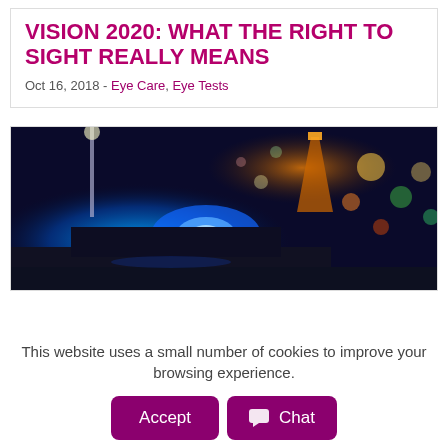VISION 2020: WHAT THE RIGHT TO SIGHT REALLY MEANS
Oct 16, 2018 - Eye Care, Eye Tests
[Figure (photo): Night photo of a police car with blue flashing light in the foreground and bokeh city lights in the background including a lit tower.]
This website uses a small number of cookies to improve your browsing experience.
Accept | R... Chat